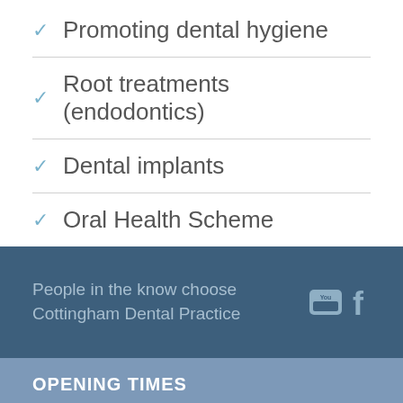✓ Promoting dental hygiene
✓ Root treatments (endodontics)
✓ Dental implants
✓ Oral Health Scheme
People in the know choose Cottingham Dental Practice
OPENING TIMES
Mon 9:00am – 5:00pm
Tues 9:00am – 5:00pm
Wed 9:00am – 5:00pm
Thurs 9:00am – 5:00pm